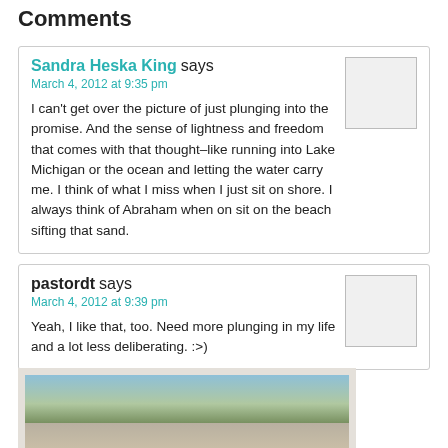Comments
Sandra Heska King says
March 4, 2012 at 9:35 pm
I can't get over the picture of just plunging into the promise. And the sense of lightness and freedom that comes with that thought–like running into Lake Michigan or the ocean and letting the water carry me. I think of what I miss when I just sit on shore. I always think of Abraham when on sit on the beach sifting that sand.
pastordt says
March 4, 2012 at 9:39 pm
Yeah, I like that, too. Need more plunging in my life and a lot less deliberating. :>)
[Figure (photo): Partial photo at bottom of page showing mountains and trees landscape with a person, displayed in a frame with white border]